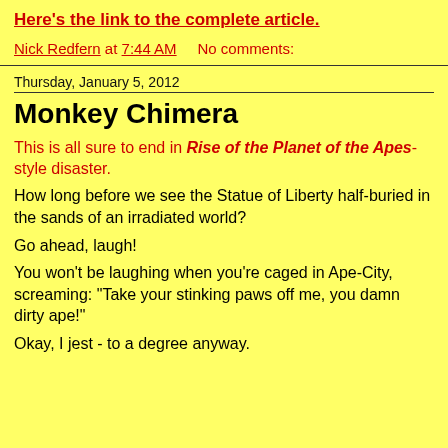Here's the link to the complete article.
Nick Redfern at 7:44 AM    No comments:
Thursday, January 5, 2012
Monkey Chimera
This is all sure to end in Rise of the Planet of the Apes-style disaster.
How long before we see the Statue of Liberty half-buried in the sands of an irradiated world?
Go ahead, laugh!
You won't be laughing when you're caged in Ape-City, screaming: "Take your stinking paws off me, you damn dirty ape!"
Okay, I jest - to a degree anyway.